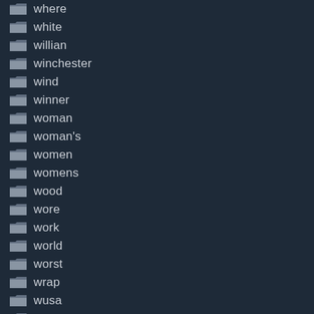where
white
willian
winchester
wind
winner
woman
woman's
women
womens
wood
wore
work
world
worst
wrap
wusa
xavi